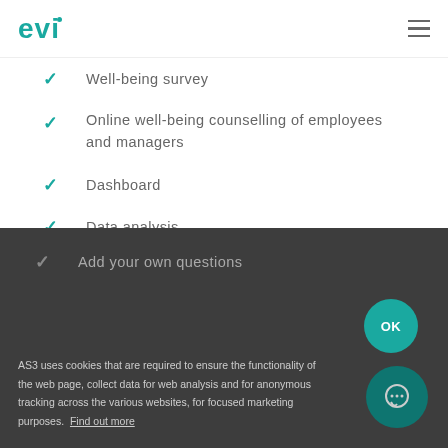evi
Well-being survey
Online well-being counselling of employees and managers
Dashboard
Data analysis
Recommended initiatives
Add your own questions
AS3 uses cookies that are required to ensure the functionality of the web page, collect data for web analysis and for anonymous tracking across the various websites, for focused marketing purposes.  Find out more